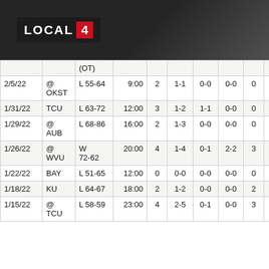LOCAL 4
| Date | Opp | Result | Time |  |  |  |  |  |  |  |  |
| --- | --- | --- | --- | --- | --- | --- | --- | --- | --- | --- | --- |
|  |  | (OT) |  |  |  |  |  |  |  |  |  |
| 2/5/22 | @ OKST | L 55-64 | 9:00 | 2 | 1-1 | 0-0 | 0-0 | 0 | 0 | 0 | 1/0 |
| 1/31/22 | TCU | L 63-72 | 12:00 | 3 | 1-2 | 1-1 | 0-0 | 0 | 1 | 0 | 1/0 |
| 1/29/22 | @ AUB | L 68-86 | 16:00 | 2 | 1-3 | 0-0 | 0-0 | 0 | 3 | 0 | 3/1 |
| 1/26/22 | @ WVU | W 72-62 | 20:00 | 4 | 1-4 | 0-1 | 2-2 | 3 | 4 | 0 | 5/2 |
| 1/22/22 | BAY | L 51-65 | 12:00 | 0 | 0-0 | 0-0 | 0-0 | 0 | 0 | 0 | 3/0 |
| 1/18/22 | KU | L 64-67 | 18:00 | 2 | 1-2 | 0-0 | 0-0 | 2 | 2 | 1 | 1/1 |
| 1/15/22 | @ TCU | L 58-59 | 23:00 | 4 | 2-5 | 0-1 | 0-0 | 3 | 2 | 0 | 2/1 |